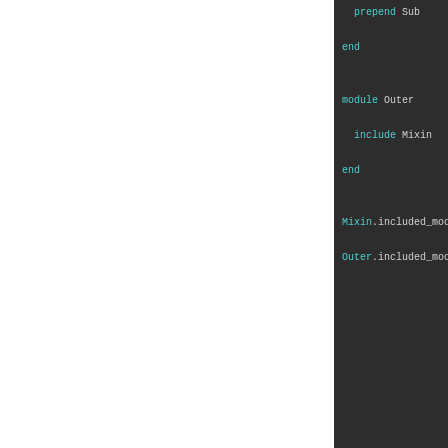[Figure (screenshot): Code block showing Ruby module code with 'prepend Sub', 'end', 'module Outer', 'include Mixin', 'end', 'Mixin.included_modu...', 'Outer.included_modu...' on dark background]
inspect()
Alias for: to_s
instance_metho...
Returns an UnboundMet...
[Figure (screenshot): Code block showing 'class Interpreter' on dark background]